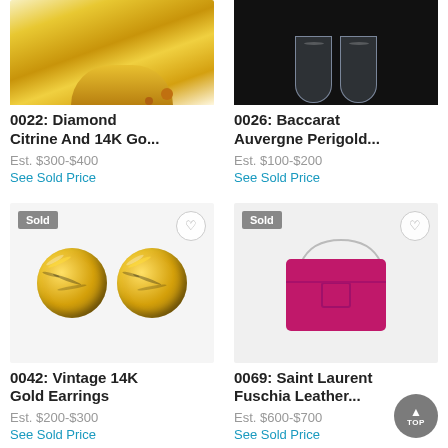[Figure (photo): Gold ring with diamond and citrine, top portion visible]
0022: Diamond Citrine And 14K Go...
Est. $300-$400
See Sold Price
[Figure (photo): Baccarat crystal glasses on black background]
0026: Baccarat Auvergne Perigold...
Est. $100-$200
See Sold Price
[Figure (photo): Vintage 14K gold knot earrings, circular design, yellow gold]
0042: Vintage 14K Gold Earrings
Est. $200-$300
See Sold Price
[Figure (photo): Saint Laurent fuschia leather handbag with gold chain strap]
0069: Saint Laurent Fuschia Leather...
Est. $600-$700
See Sold Price